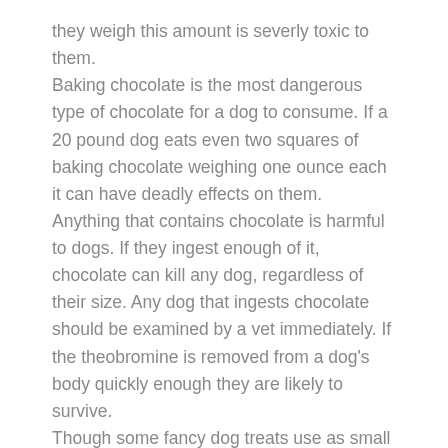they weigh this amount is severly toxic to them.
Baking chocolate is the most dangerous type of chocolate for a dog to consume. If a 20 pound dog eats even two squares of baking chocolate weighing one ounce each it can have deadly effects on them.
Anything that contains chocolate is harmful to dogs. If they ingest enough of it, chocolate can kill any dog, regardless of their size. Any dog that ingests chocolate should be examined by a vet immediately. If the theobromine is removed from a dog's body quickly enough they are likely to survive.
Though some fancy dog treats use as small amount of chocolate in them many dog treats are made with carob, which is simply a substitute for chocolate that is safe for dogs to injest. Applied to a dog bone it looks like real chocolate but it is not deadly to man's best friend.